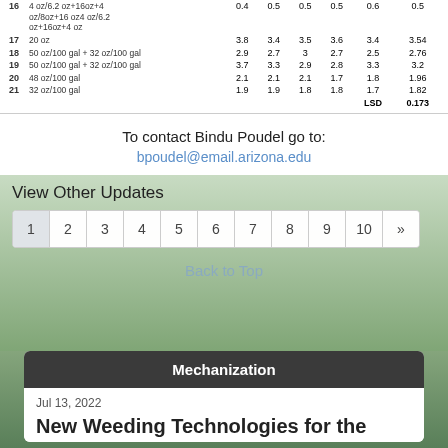| # | Treatment | Col1 | Col2 | Col3 | Col4 | Col5 | Mean |
| --- | --- | --- | --- | --- | --- | --- | --- |
| 16 | 4 oz/6.2 oz+16oz+4 oz/8oz+16 oz4 oz/6.2 oz+16oz+4 oz | 0.4 | 0.5 | 0.5 | 0.5 | 0.6 | 0.5 |
| 17 | 20 oz | 3.8 | 3.4 | 3.5 | 3.6 | 3.4 | 3.54 |
| 18 | 50 oz/100 gal + 32 oz/100 gal | 2.9 | 2.7 | 3 | 2.7 | 2.5 | 2.76 |
| 19 | 50 oz/100 gal + 32 oz/100 gal | 3.7 | 3.3 | 2.9 | 2.8 | 3.3 | 3.2 |
| 20 | 48 oz/100 gal | 2.1 | 2.1 | 2.1 | 1.7 | 1.8 | 1.96 |
| 21 | 32 oz/100 gal | 1.9 | 1.9 | 1.8 | 1.8 | 1.7 | 1.82 |
|  |  |  |  |  |  | LSD | 0.173 |
To contact Bindu Poudel go to:
bpoudel@email.arizona.edu
View Other Updates
1 2 3 4 5 6 7 8 9 10 »
Back to Top
Mechanization
Jul 13, 2022
New Weeding Technologies for the